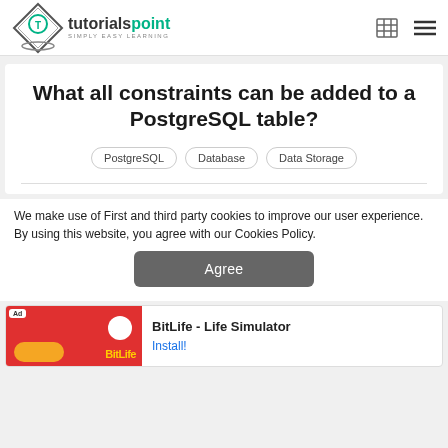tutorialspoint SIMPLY EASY LEARNING
What all constraints can be added to a PostgreSQL table?
PostgreSQL   Database   Data Storage
We make use of First and third party cookies to improve our user experience. By using this website, you agree with our Cookies Policy.
Agree
[Figure (screenshot): Ad banner for BitLife - Life Simulator with Install button]